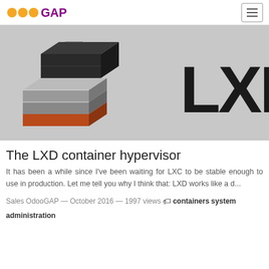OdooGAP
[Figure (logo): LXD logo — isometric stacked container blocks in dark grey, light grey, and burnt orange/red on grey background, with large 'LXD' text to the right]
The LXD container hypervisor
It has been a while since I've been waiting for LXC to be stable enough to use in production. Let me tell you why I think that: LXD works like a d...
Sales OdooGAP — October 2016 — 1997 views  containers  system administration